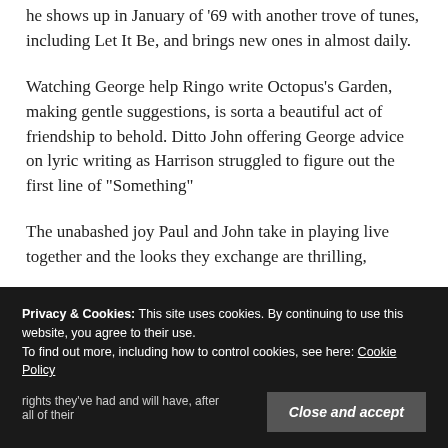he shows up in January of '69 with another trove of tunes, including Let It Be, and brings new ones in almost daily.
Watching George help Ringo write Octopus's Garden, making gentle suggestions, is sorta a beautiful act of friendship to behold. Ditto John offering George advice on lyric writing as Harrison struggled to figure out the first line of "Something"
The unabashed joy Paul and John take in playing live together and the looks they exchange are thrilling
Privacy & Cookies: This site uses cookies. By continuing to use this website, you agree to their use.
To find out more, including how to control cookies, see here: Cookie Policy
Close and accept
rights they've had and will have, after all of their